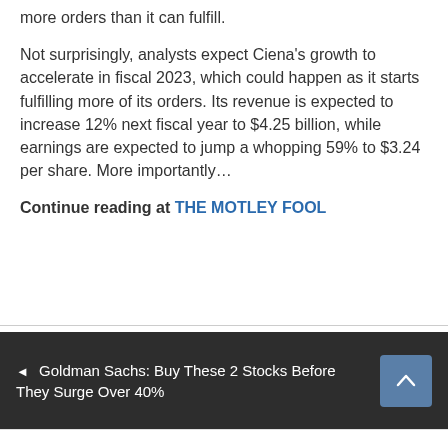more orders than it can fulfill.
Not surprisingly, analysts expect Ciena's growth to accelerate in fiscal 2023, which could happen as it starts fulfilling more of its orders. Its revenue is expected to increase 12% next fiscal year to $4.25 billion, while earnings are expected to jump a whopping 59% to $3.24 per share. More importantly...
Continue reading at THE MOTLEY FOOL
◄ Goldman Sachs: Buy These 2 Stocks Before They Surge Over 40%